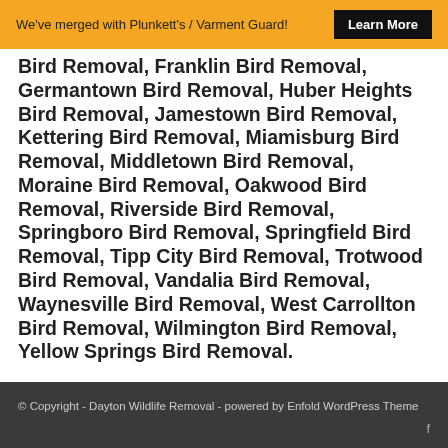We've merged with Plunkett's / Varment Guard! Learn More
Bird Removal, Franklin Bird Removal, Germantown Bird Removal, Huber Heights Bird Removal, Jamestown Bird Removal, Kettering Bird Removal, Miamisburg Bird Removal, Middletown Bird Removal, Moraine Bird Removal, Oakwood Bird Removal, Riverside Bird Removal, Springboro Bird Removal, Springfield Bird Removal, Tipp City Bird Removal, Trotwood Bird Removal, Vandalia Bird Removal, Waynesville Bird Removal, West Carrollton Bird Removal, Wilmington Bird Removal, Yellow Springs Bird Removal.
© Copyright - Dayton Wildlife Removal - powered by Enfold WordPress Theme